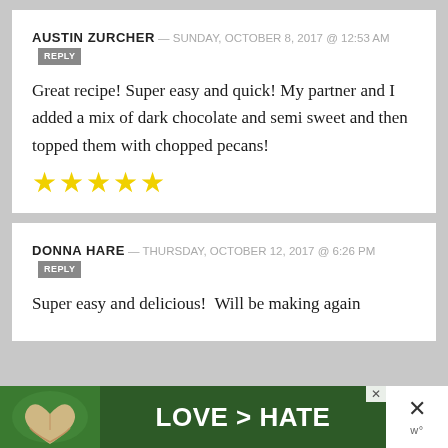AUSTIN ZURCHER — SUNDAY, OCTOBER 8, 2017 @ 12:53 AM  REPLY
Great recipe! Super easy and quick! My partner and I added a mix of dark chocolate and semi sweet and then topped them with chopped pecans!
[Figure (other): Five yellow star rating icons]
DONNA HARE — THURSDAY, OCTOBER 12, 2017 @ 6:26 PM  REPLY
Super easy and delicious!  Will be making again
[Figure (other): Advertisement banner: hands forming heart shape with text LOVE > HATE on green background]